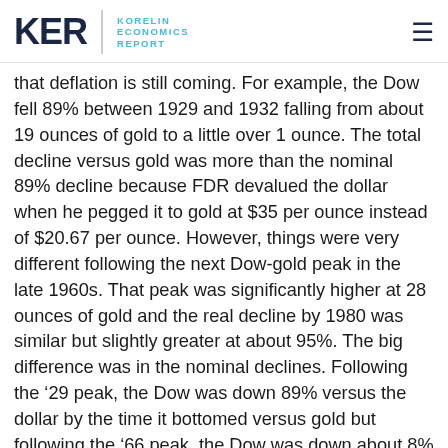KER | KORELIN ECONOMICS REPORT
that deflation is still coming. For example, the Dow fell 89% between 1929 and 1932 falling from about 19 ounces of gold to a little over 1 ounce. The total decline versus gold was more than the nominal 89% decline because FDR devalued the dollar when he pegged it to gold at $35 per ounce instead of $20.67 per ounce. However, things were very different following the next Dow-gold peak in the late 1960s. That peak was significantly higher at 28 ounces of gold and the real decline by 1980 was similar but slightly greater at about 95%. The big difference was in the nominal declines. Following the ’29 peak, the Dow was down 89% versus the dollar by the time it bottomed versus gold but following the ’66 peak, the Dow was down about 8% versus the dollar by the time it bottomed versus gold.